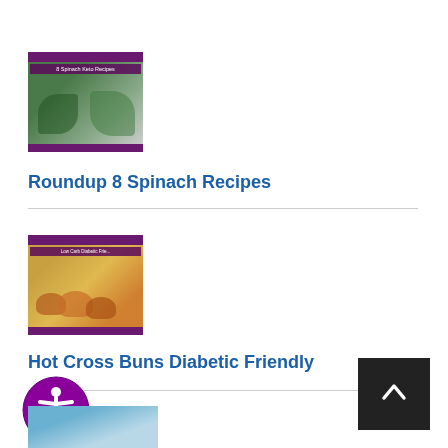[Figure (illustration): Book cover thumbnail for Roundup 8 Spinach Recipes with purple banner and green food imagery]
Roundup 8 Spinach Recipes
[Figure (illustration): Book cover thumbnail for Hot Cross Buns Diabetic Friendly with purple banner and baked goods imagery]
Hot Cross Buns Diabetic Friendly
[Figure (illustration): Accessibility icon - person in circle, purple]
[Figure (illustration): Partial book cover at bottom of page, blue/sky imagery]
[Figure (illustration): Scroll-to-top button, dark background with upward chevron]